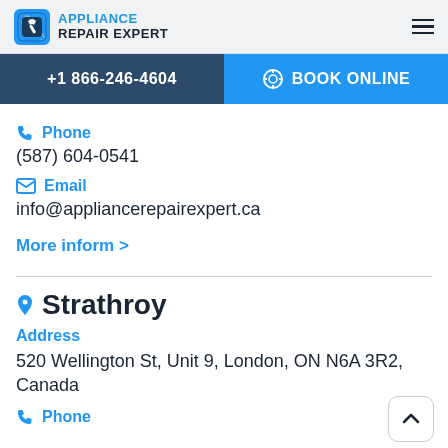APPLIANCE REPAIR EXPERT
+1 866-246-4604
BOOK ONLINE
Phone
(587) 604-0541
Email
info@appliancerepairexpert.ca
More inform >
Strathroy
Address
520 Wellington St, Unit 9, London, ON N6A 3R2, Canada
Phone